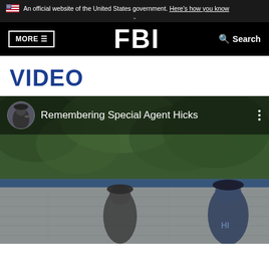An official website of the United States government. Here's how you know
FBI — MORE  Search
VIDEO
[Figure (screenshot): YouTube-style video thumbnail showing 'Remembering Special Agent Hicks' with a circular avatar icon, video title text, and a blurred background scene of two people standing near a wall with foliage in the background.]